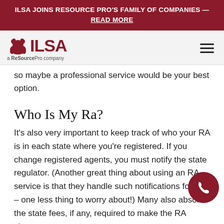ILSA JOINS RESOURCE PRO'S FAMILY OF COMPANIES — READ MORE
[Figure (logo): ILSA logo with bear icon and tagline 'a ReSourcePro company', with hamburger menu icon]
so maybe a professional service would be your best option.
Who Is My Ra?
It's also very important to keep track of who your RA is in each state where you're registered. If you change registered agents, you must notify the state regulator. (Another great thing about using an RA service is that they handle such notifications for you – one less thing to worry about!) Many also absorb the state fees, if any, required to make the RA chang…
If you don't know who your RA of record is in a…